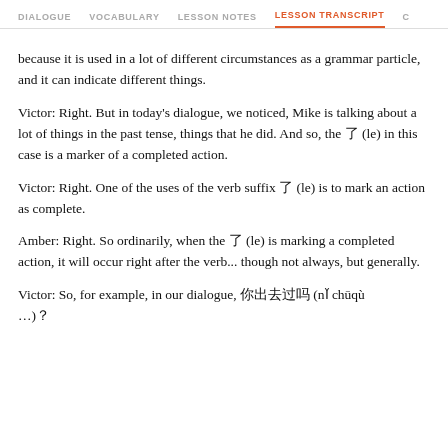DIALOGUE   VOCABULARY   LESSON NOTES   LESSON TRANSCRIPT   C
because it is used in a lot of different circumstances as a grammar particle, and it can indicate different things.
Victor: Right. But in today's dialogue, we noticed, Mike is talking about a lot of things in the past tense, things that he did. And so, the 了 (le) in this case is a marker of a completed action.
Victor: Right. One of the uses of the verb suffix 了 (le) is to mark an action as complete.
Amber: Right. So ordinarily, when the 了 (le) is marking a completed action, it will occur right after the verb... though not always, but generally.
Victor: So, for example, in our dialogue, 你出去过吗 (nǐ chūqù …)？